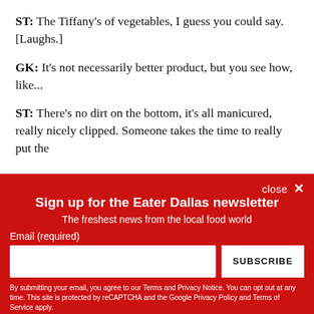ST: The Tiffany's of vegetables, I guess you could say. [Laughs.]
GK: It's not necessarily better product, but you see how, like...
ST: There's no dirt on the bottom, it's all manicured, really nicely clipped. Someone takes the time to really put the
close ×
Sign up for the Eater Dallas newsletter
The freshest news from the local food world
Email (required)
SUBSCRIBE
By submitting your email, you agree to our Terms and Privacy Notice. You can opt out at any time. This site is protected by reCAPTCHA and the Google Privacy Policy and Terms of Service apply.